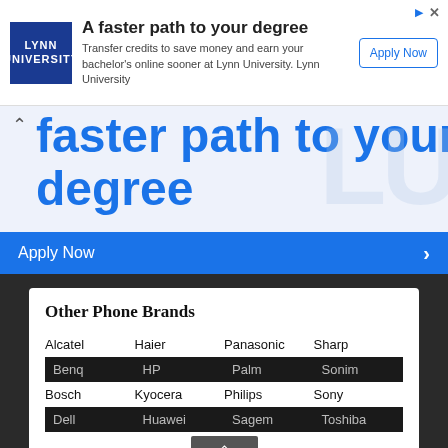[Figure (infographic): Lynn University advertisement banner with logo, headline 'A faster path to your degree', description text about transferring credits, and 'Apply Now' button]
faster path to your degree
Apply Now
Other Phone Brands
| Alcatel | Haier | Panasonic | Sharp |
| Benq | HP | Palm | Sonim |
| Bosch | Kyocera | Philips | Sony |
| Dell | Huawei | Sagem | Toshiba |